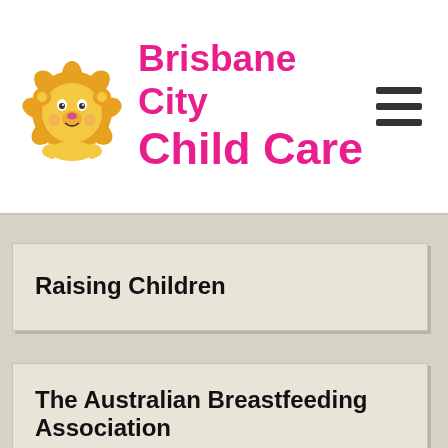[Figure (logo): Brisbane City Child Care logo with cartoon lion mascot and pink bold text reading 'Brisbane City Child Care']
Raising Children
The Australian Breastfeeding Association